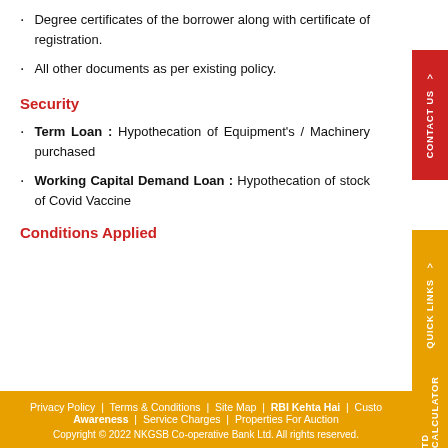Degree certificates of the borrower along with certificate of registration.
All other documents as per existing policy.
Security
Term Loan : Hypothecation of Equipment's / Machinery purchased
Working Capital Demand Loan : Hypothecation of stock of Covid Vaccine
Conditions Applied
Privacy Policy | Terms & Conditions | Site Map | RBI Kehta Hai | Customer Awareness | Service Charges | Properties For Auction
Copyright © 2022 NKGSB Co-operative Bank Ltd. All rights reserved.